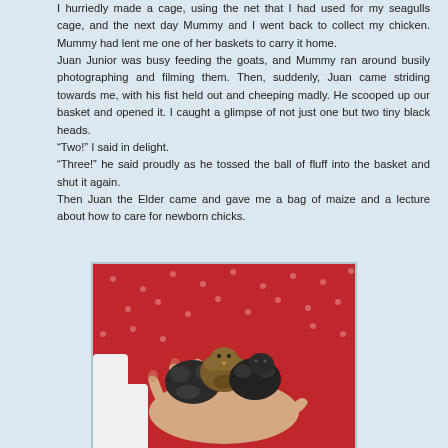I hurriedly made a cage, using the net that I had used for my seagulls cage, and the next day Mummy and I went back to collect my chicken. Mummy had lent me one of her baskets to carry it home.
Juan Junior was busy feeding the goats, and Mummy ran around busily photographing and filming them. Then, suddenly, Juan came striding towards me, with his fist held out and cheeping madly. He scooped up our basket and opened it. I caught a glimpse of not just one but two tiny black heads.
“Two!” I said in delight.
“Three!” he said proudly as he tossed the ball of fluff into the basket and shut it again.
Then Juan the Elder came and gave me a bag of maize and a lecture about how to care for newborn chicks.
[Figure (photo): A hand holding three tiny newborn black chicks against a red polka-dot fabric background.]